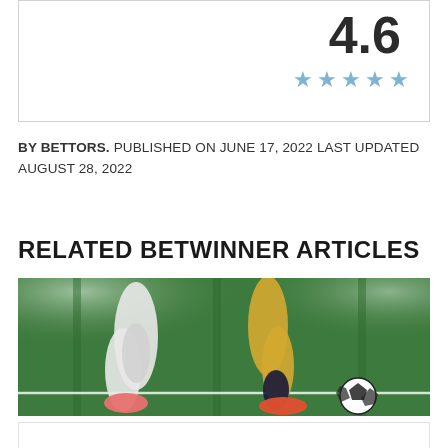[Figure (other): Rating display showing score 4.6 with five blue stars]
BY BETTORS. PUBLISHED ON JUNE 17, 2022 LAST UPDATED AUGUST 28, 2022
RELATED BETWINNER ARTICLES
[Figure (photo): Soccer players legs on a football pitch with a ball, stadium lights in background]
BETWINNER PROMO CODE FOR AUGUST 2022 IS NOBET